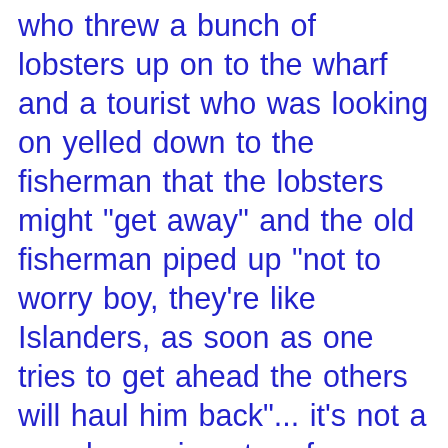who threw a bunch of lobsters up on to the wharf and a tourist who was looking on yelled down to the fisherman that the lobsters might "get away" and the old fisherman piped up "not to worry boy, they're like Islanders, as soon as one tries to get ahead the others will haul him back"... it's not a very becoming story for us Islanders but my parents never taught us to begrudge anyone from getting ahead and I hope I never catch my kids at it... as my Mom always said it's more likely jealousy or ignorance that these people suffer and while it's easy for any of us to go to that level (I'd love to have Kevin's hair) it shouldn't be at the expense of our precious Island... whether you're a farmer, a fisher, a tourist owner, a manufacturer, a woodlot owner, etc... you're